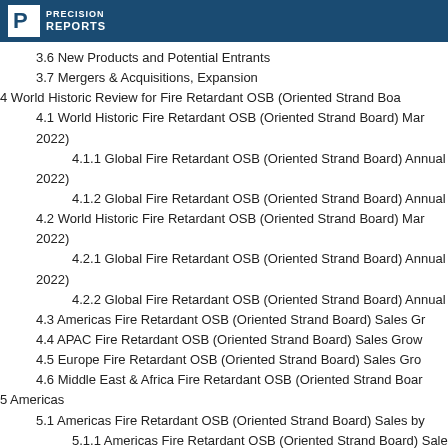PRECISION REPORTS
3.6 New Products and Potential Entrants
3.7 Mergers & Acquisitions, Expansion
4 World Historic Review for Fire Retardant OSB (Oriented Strand Board)...
4.1 World Historic Fire Retardant OSB (Oriented Strand Board) Market... 2022)
4.1.1 Global Fire Retardant OSB (Oriented Strand Board) Annual... 2022)
4.1.2 Global Fire Retardant OSB (Oriented Strand Board) Annual...
4.2 World Historic Fire Retardant OSB (Oriented Strand Board) Mar... 2022)
4.2.1 Global Fire Retardant OSB (Oriented Strand Board) Annual... 2022)
4.2.2 Global Fire Retardant OSB (Oriented Strand Board) Annual...
4.3 Americas Fire Retardant OSB (Oriented Strand Board) Sales Gr...
4.4 APAC Fire Retardant OSB (Oriented Strand Board) Sales Grow...
4.5 Europe Fire Retardant OSB (Oriented Strand Board) Sales Gro...
4.6 Middle East & Africa Fire Retardant OSB (Oriented Strand Boar...
5 Americas
5.1 Americas Fire Retardant OSB (Oriented Strand Board) Sales by...
5.1.1 Americas Fire Retardant OSB (Oriented Strand Board) Sale... 2022)